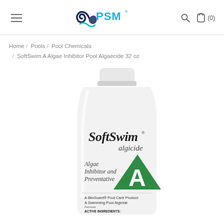[Figure (logo): PSM logo with wave graphic and blue/teal text]
Home / Pools / Pool Chemicals / SoftSwim A Algae Inhibitor Pool Algaecide 32 oz
[Figure (photo): SoftSwim algicide bottle - white plastic bottle with green triangle A logo, text reading SoftSwim algicide, Algae Inhibitor and Preventative, A BioGuard Pool Care Product, A Swimming Pool Algicide]